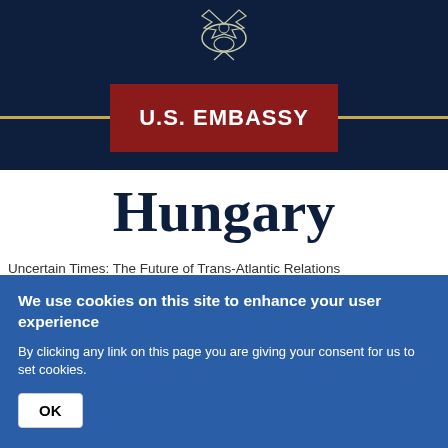[Figure (logo): U.S. government eagle emblem, white on dark navy background, partially visible at top center]
U.S. EMBASSY
Hungary
Uncertain Times: The Future of Trans-Atlantic Relations
We use cookies on this site to enhance your user experience
By clicking any link on this page you are giving your consent for us to set cookies.
OK